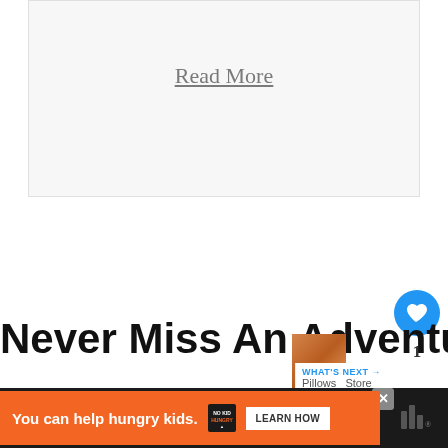Read More
[Figure (infographic): Heart (like) button in blue circle, count of 1, and share button]
Never Miss An Adventure
WHAT'S NEXT → Pillows  Store
[Figure (infographic): Advertisement bar: You can help hungry kids. NO KID HUNGRY logo. LEARN HOW button. Close X button. Wibbitz logo.]